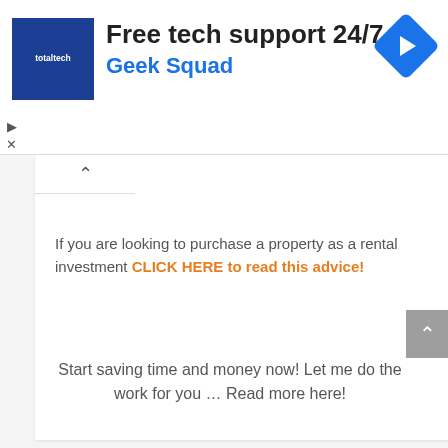[Figure (other): Advertisement banner: Blue square logo with 'totaltech' text, heading 'Free tech support 24/7' and subheading 'Geek Squad' in blue, blue diamond navigation arrow icon on right]
If you are looking to purchase a property as a rental investment CLICK HERE to read this advice!
Start saving time and money now! Let me do the work for you … Read more here!